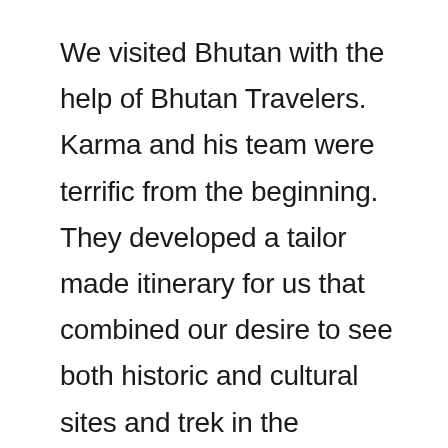We visited Bhutan with the help of Bhutan Travelers. Karma and his team were terrific from the beginning. They developed a tailor made itinerary for us that combined our desire to see both historic and cultural sites and trek in the Himalaya. We visited Paro and Tigers Nest Monastery before embarking on the Soi Yaksa trek and then spend a few days in Thimphu and Punakha visiting historical and cultural sights. We could